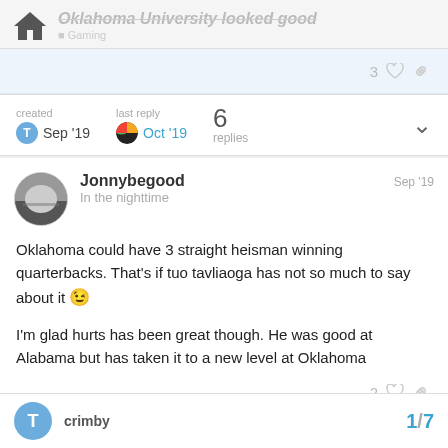Oklahoma University looked good
3 likes
| created | last reply | replies |
| --- | --- | --- |
| Sep '19 | Oct '19 | 6 |
Jonnybegood  Sep '19
In the nighttime
Oklahoma could have 3 straight heisman winning quarterbacks. That's if tuo tavliaoga has not so much to say about it 😉

I'm glad hurts has been great though. He was good at Alabama but has taken it to a new level at Oklahoma
2 likes
crimby  1/7